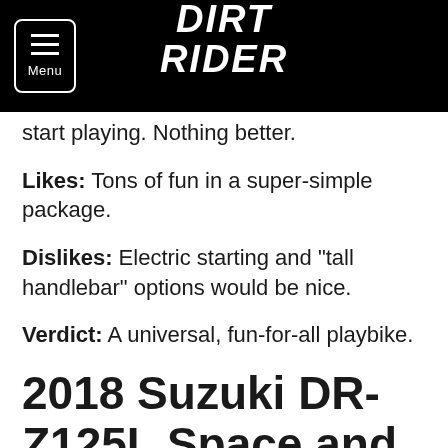DIRT RIDER
start playing. Nothing better.
Likes: Tons of fun in a super-simple package.
Dislikes: Electric starting and "tall handlebar" options would be nice.
Verdict: A universal, fun-for-all playbike.
2018 Suzuki DR-Z125L Space and